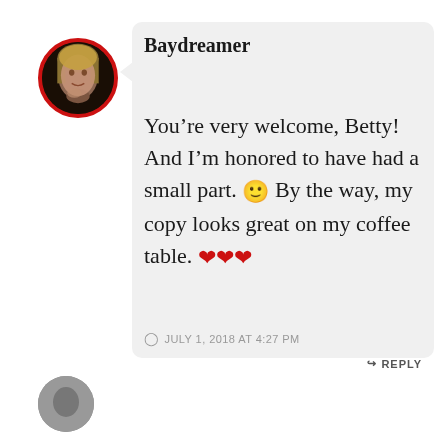[Figure (photo): Circular avatar photo of a woman with blonde hair, framed with a red border]
Baydreamer
You’re very welcome, Betty! And I’m honored to have had a small part. 🙂 By the way, my copy looks great on my coffee table. ❤❤❤
JULY 1, 2018 AT 4:27 PM
REPLY